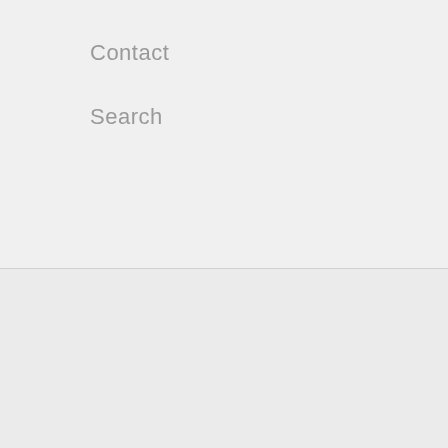Contact
Search
GBP £
[Figure (illustration): Facebook and Instagram social media icons]
Chat with us
[Figure (illustration): Payment method icons: American Express, Apple Pay, Diners Club, Discover, Google Pay, Maestro, Mastercard, PayPal, Shop Pay]